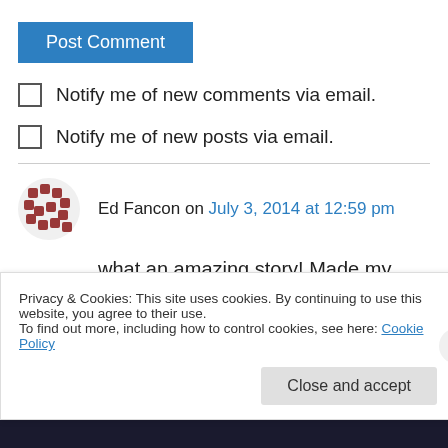[Figure (other): Post Comment button - blue rectangle with white text]
Notify me of new comments via email.
Notify me of new posts via email.
Ed Fancon on July 3, 2014 at 12:59 pm
what an amazing story! Made my eyes leak for some reason 😉 Kudos to you Mike. Dream, Struggle, Victory! You are working with some
Privacy & Cookies: This site uses cookies. By continuing to use this website, you agree to their use.
To find out more, including how to control cookies, see here: Cookie Policy
[Figure (other): Close and accept button for cookie banner]